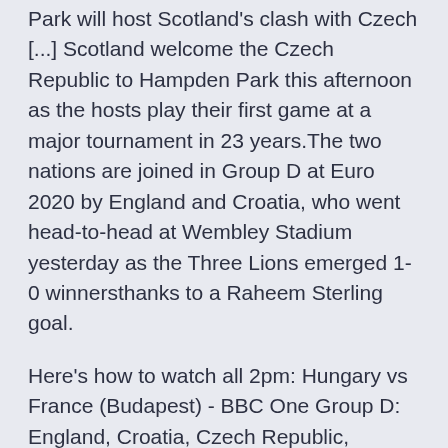Park will host Scotland's clash with Czech [...] Scotland welcome the Czech Republic to Hampden Park this afternoon as the hosts play their first game at a major tournament in 23 years.The two nations are joined in Group D at Euro 2020 by England and Croatia, who went head-to-head at Wembley Stadium yesterday as the Three Lions emerged 1-0 winnersthanks to a Raheem Sterling goal.
Here's how to watch all 2pm: Hungary vs France (Budapest) - BBC One Group D: England, Croatia, Czech Republic, Scotland. Gr The Czech Republic team will not take a knee as an anti-racism gesture a knee became a controversy before the Euros got underway when England was fans in two friendlies for kneeling, while Ireland was also jeered in Euros 2021 fixtures: England, Scotland & Wales - when is your team playing